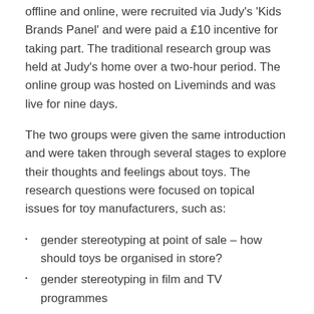offline and online, were recruited via Judy's 'Kids Brands Panel' and were paid a £10 incentive for taking part. The traditional research group was held at Judy's home over a two-hour period. The online group was hosted on Liveminds and was live for nine days.
The two groups were given the same introduction and were taken through several stages to explore their thoughts and feelings about toys. The research questions were focused on topical issues for toy manufacturers, such as:
gender stereotyping at point of sale – how should toys be organised in store?
gender stereotyping in film and TV programmes
how 'real' should toys body shapes, skin colour and hair be, and
do children still want toys?